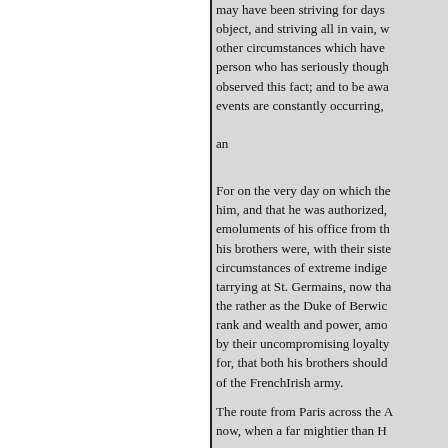may have been striving for days object, and striving all in vain, w other circumstances which have person who has seriously though observed this fact; and to be awa events are constantly occurring,

an
For on the very day on which the him, and that he was authorized, emoluments of his office from th his brothers were, with their siste circumstances of extreme indige tarrying at St. Germains, now tha the rather as the Duke of Berwic rank and wealth and power, amo by their uncompromising loyalty for, that both his brothers should of the FrenchIrish army.
The route from Paris across the A now, when a far mightier than H
'Diduxit scopulos, et montes rup